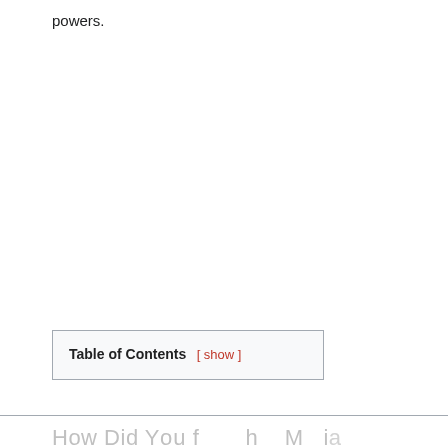powers.
| Table of Contents  [ show ] |
How Did You f... (partial)